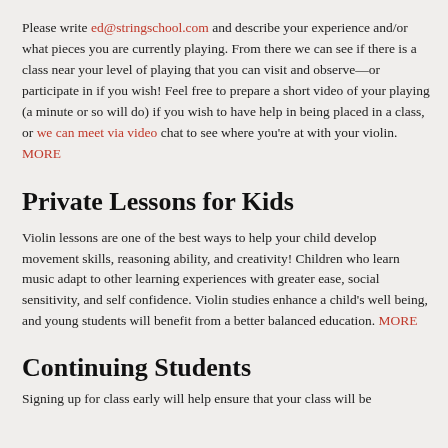Please write ed@stringschool.com and describe your experience and/or what pieces you are currently playing. From there we can see if there is a class near your level of playing that you can visit and observe—or participate in if you wish! Feel free to prepare a short video of your playing (a minute or so will do) if you wish to have help in being placed in a class, or we can meet via video chat to see where you're at with your violin. MORE
Private Lessons for Kids
Violin lessons are one of the best ways to help your child develop movement skills, reasoning ability, and creativity! Children who learn music adapt to other learning experiences with greater ease, social sensitivity, and self confidence. Violin studies enhance a child's well being, and young students will benefit from a better balanced education. MORE
Continuing Students
Signing up for class early will help ensure that your class will be